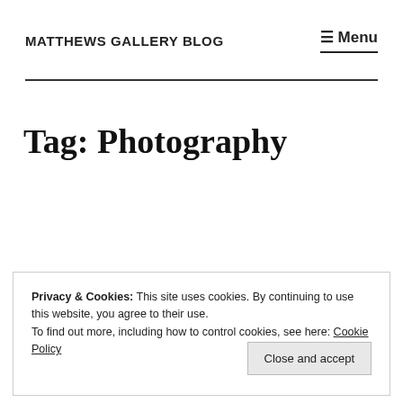MATTHEWS GALLERY BLOG   ☰ Menu
Tag: Photography
Privacy & Cookies: This site uses cookies. By continuing to use this website, you agree to their use.
To find out more, including how to control cookies, see here: Cookie Policy
Close and accept